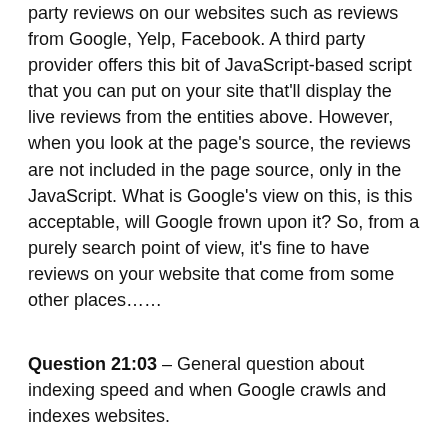party reviews on our websites such as reviews from Google, Yelp, Facebook. A third party provider offers this bit of JavaScript-based script that you can put on your site that'll display the live reviews from the entities above. However, when you look at the page's source, the reviews are not included in the page source, only in the JavaScript. What is Google's view on this, is this acceptable, will Google frown upon it? So, from a purely search point of view, it's fine to have reviews on your website that come from some other places......
Question 21:03 – General question about indexing speed and when Google crawls and indexes websites.
Answer 21:19 - I think it goes into the direction of general crawling and indexing speeds for websites. And think th...